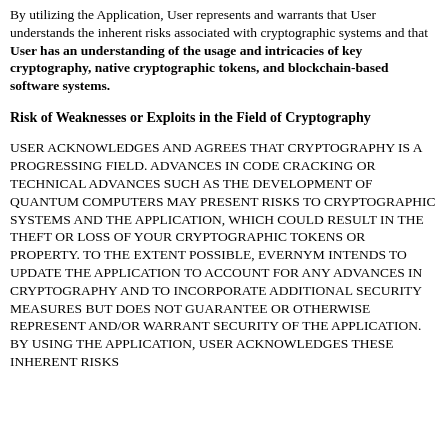By utilizing the Application, User represents and warrants that User understands the inherent risks associated with cryptographic systems and that User has an understanding of the usage and intricacies of key cryptography, native cryptographic tokens, and blockchain-based software systems.
Risk of Weaknesses or Exploits in the Field of Cryptography
USER ACKNOWLEDGES AND AGREES THAT CRYPTOGRAPHY IS A PROGRESSING FIELD. ADVANCES IN CODE CRACKING OR TECHNICAL ADVANCES SUCH AS THE DEVELOPMENT OF QUANTUM COMPUTERS MAY PRESENT RISKS TO CRYPTOGRAPHIC SYSTEMS AND THE APPLICATION, WHICH COULD RESULT IN THE THEFT OR LOSS OF YOUR CRYPTOGRAPHIC TOKENS OR PROPERTY. TO THE EXTENT POSSIBLE, EVERNYM INTENDS TO UPDATE THE APPLICATION TO ACCOUNT FOR ANY ADVANCES IN CRYPTOGRAPHY AND TO INCORPORATE ADDITIONAL SECURITY MEASURES BUT DOES NOT GUARANTEE OR OTHERWISE REPRESENT AND/OR WARRANT SECURITY OF THE APPLICATION. BY USING THE APPLICATION, USER ACKNOWLEDGES THESE INHERENT RISKS